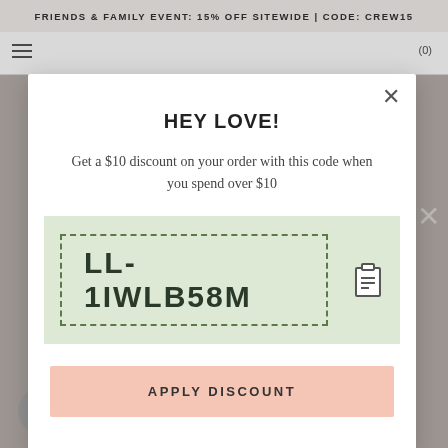FRIENDS & FAMILY EVENT: 15% OFF SITEWIDE | CODE: CREW15
HEY LOVE!
Get a $10 discount on your order with this code when you spend over $10
LL-1IWLB58M
APPLY DISCOUNT